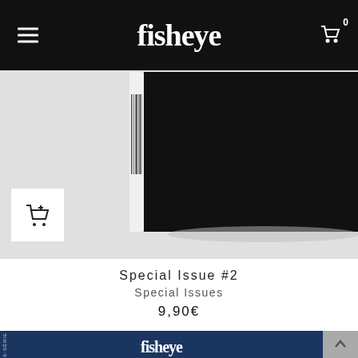fisheye — navigation header with menu icon and cart icon (0 items)
[Figure (photo): A black hardcover magazine/book standing upright on a light grey surface, showing its spine and back cover. A white add-to-cart button is overlaid in the lower left.]
Special Issue #2
Special Issues
9,90€
[Figure (photo): Bottom portion of a second product: dark blue magazine cover with the fisheye logo in white serif text. A grey scroll-to-top arrow button is visible at the right edge.]